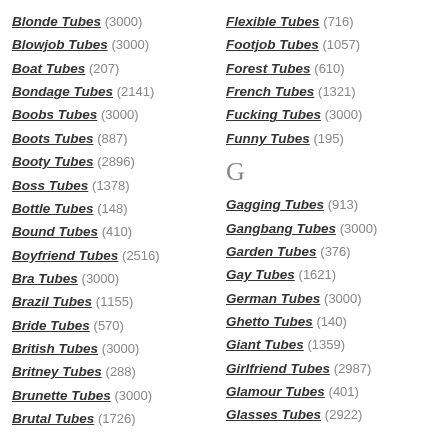Blonde Tubes (3000)
Blowjob Tubes (3000)
Boat Tubes (207)
Bondage Tubes (2141)
Boobs Tubes (3000)
Boots Tubes (887)
Booty Tubes (2896)
Boss Tubes (1378)
Bottle Tubes (148)
Bound Tubes (410)
Boyfriend Tubes (2516)
Bra Tubes (3000)
Brazil Tubes (1155)
Bride Tubes (570)
British Tubes (3000)
Britney Tubes (288)
Brunette Tubes (3000)
Brutal Tubes (1726)
Flexible Tubes (716)
Footjob Tubes (1057)
Forest Tubes (610)
French Tubes (1321)
Fucking Tubes (3000)
Funny Tubes (195)
G
Gagging Tubes (913)
Gangbang Tubes (3000)
Garden Tubes (376)
Gay Tubes (1621)
German Tubes (3000)
Ghetto Tubes (140)
Giant Tubes (1359)
Girlfriend Tubes (2987)
Glamour Tubes (401)
Glasses Tubes (2922)